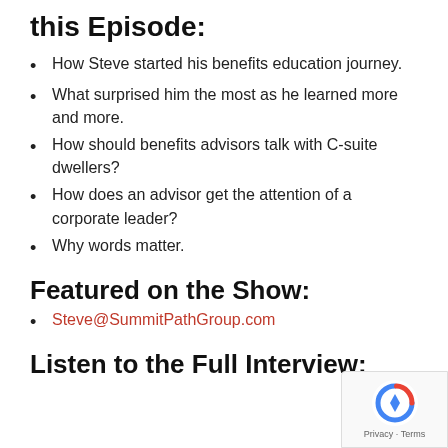this Episode:
How Steve started his benefits education journey.
What surprised him the most as he learned more and more.
How should benefits advisors talk with C-suite dwellers?
How does an advisor get the attention of a corporate leader?
Why words matter.
Featured on the Show:
Steve@SummitPathGroup.com
Listen to the Full Interview: